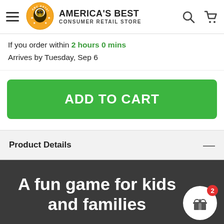AMERICA'S BEST CONSUMER RETAIL STORE
If you order within 2 hours 0 mins
Arrives by Tuesday, Sep 6
ADD TO CART
Product Details
A fun game for kids and families